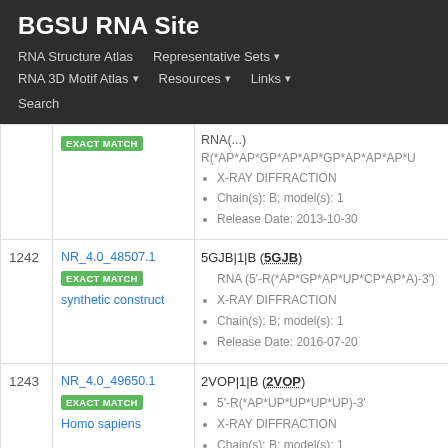BGSU RNA Site
RNA Structure Atlas | Representative Sets ▾ | RNA 3D Motif Atlas ▾ | Resources ▾ | Links ▾ | Search
| # | ID | Details |
| --- | --- | --- |
|  | EXACT MATCH | R(*AP*AP*GP*AP*AP*GP*AP*AP*AP*U... • X-RAY DIFFRACTION • Chain(s): B; model(s): 1 • Release Date: 2013-10-30 |
| 1242 | NR_4.0_48507.1 EXACT MATCH synthetic construct | 5GJB|1|B (5GJB) • RNA (5'-R(*AP*GP*AP*UP*CP*AP*A)-3') • X-RAY DIFFRACTION • Chain(s): B; model(s): 1 • Release Date: 2016-07-20 |
| 1243 | NR_4.0_49650.1 EXACT MATCH Homo sapiens | 2VOP|1|B (2VOP) • 5'-R(*AP*UP*UP*UP*UP)-3' • X-RAY DIFFRACTION • Chain(s): B; model(s): 1 |